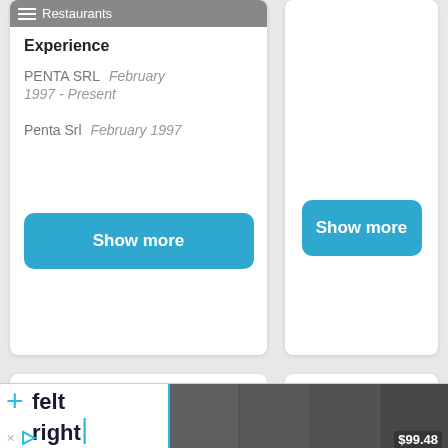Restaurants
Experience
PENTA SRL  February 1997 - Present
Penta Srl  February 1997
Show more
Show more
Andrea Casta
Andrea Casta
[Figure (screenshot): Advertisement banner for 'felt right' brand with product image showing wall panels priced at $99.48]